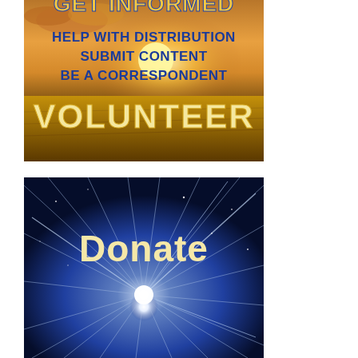[Figure (illustration): Volunteer recruitment banner: sunset over wheat field background with bold blue text 'HELP WITH DISTRIBUTION', 'SUBMIT CONTENT', 'BE A CORRESPONDENT' and large cream/gold bold text 'VOLUNTEER'. Top text partially cropped showing 'GET INFORMED'.]
[Figure (illustration): Donate banner: dark blue starburst/light-rays background with bright central light point and large cream/yellow bold text 'Donate'.]